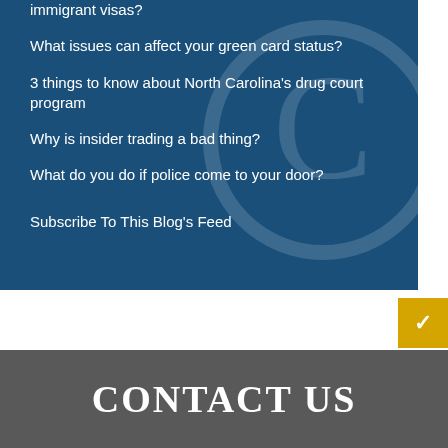immigrant visas?
What issues can affect your green card status?
3 things to know about North Carolina's drug court program
Why is insider trading a bad thing?
What do you do if police come to your door?
Subscribe To This Blog's Feed
CONTACT US